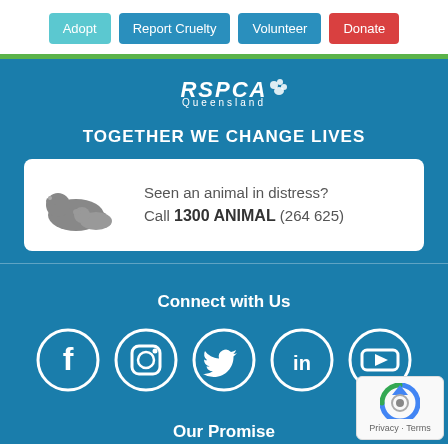[Figure (screenshot): Navigation bar with four buttons: Adopt (light teal), Report Cruelty (blue), Volunteer (blue), Donate (red)]
[Figure (logo): RSPCA Queensland logo in white text on blue background]
TOGETHER WE CHANGE LIVES
Seen an animal in distress? Call 1300 ANIMAL (264 625)
Connect with Us
[Figure (infographic): Five social media icons in white circles: Facebook, Instagram, Twitter, LinkedIn, YouTube]
Our Promise